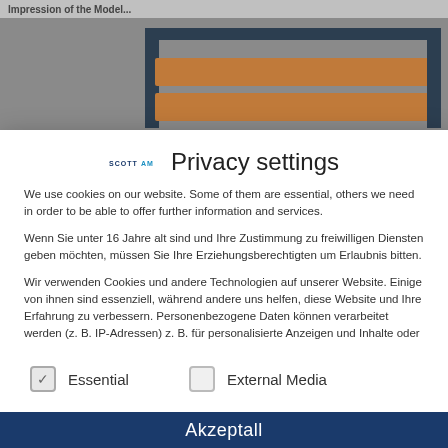[Figure (screenshot): Background showing partial webpage with furniture/shelving unit image, overlaid by a privacy settings cookie consent modal dialog.]
Privacy settings
We use cookies on our website. Some of them are essential, others we need in order to be able to offer further information and services.
Wenn Sie unter 16 Jahre alt sind und Ihre Zustimmung zu freiwilligen Diensten geben möchten, müssen Sie Ihre Erziehungsberechtigten um Erlaubnis bitten.
Wir verwenden Cookies und andere Technologien auf unserer Website. Einige von ihnen sind essenziell, während andere uns helfen, diese Website und Ihre Erfahrung zu verbessern. Personenbezogene Daten können verarbeitet werden (z. B. IP-Adressen) z. B. für personalisierte Anzeigen und Inhalte oder
Essential   External Media
Akzeptall